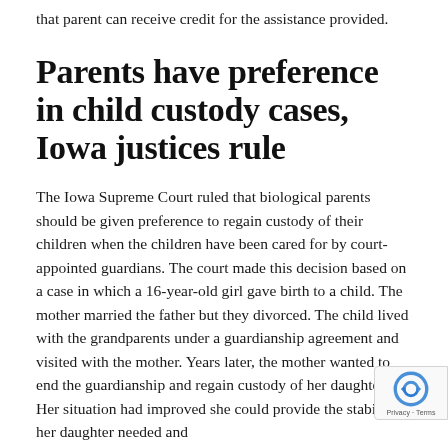that parent can receive credit for the assistance provided.
Parents have preference in child custody cases, Iowa justices rule
The Iowa Supreme Court ruled that biological parents should be given preference to regain custody of their children when the children have been cared for by court-appointed guardians. The court made this decision based on a case in which a 16-year-old girl gave birth to a child. The mother married the father but they divorced. The child lived with the grandparents under a guardianship agreement and visited with the mother. Years later, the mother wanted to end the guardianship and regain custody of her daughter. Her situation had improved and she could provide the stability her daughter needed and